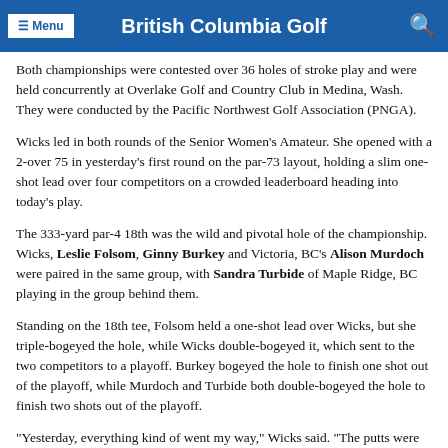British Columbia Golf
Both championships were contested over 36 holes of stroke play and were held concurrently at Overlake Golf and Country Club in Medina, Wash. They were conducted by the Pacific Northwest Golf Association (PNGA).
Wicks led in both rounds of the Senior Women's Amateur. She opened with a 2-over 75 in yesterday's first round on the par-73 layout, holding a slim one-shot lead over four competitors on a crowded leaderboard heading into today's play.
The 333-yard par-4 18th was the wild and pivotal hole of the championship. Wicks, Leslie Folsom, Ginny Burkey and Victoria, BC's Alison Murdoch were paired in the same group, with Sandra Turbide of Maple Ridge, BC playing in the group behind them.
Standing on the 18th tee, Folsom held a one-shot lead over Wicks, but she triple-bogeyed the hole, while Wicks double-bogeyed it, which sent to the two competitors to a playoff. Burkey bogeyed the hole to finish one shot out of the playoff, while Murdoch and Turbide both double-bogeyed the hole to finish two shots out of the playoff.
"Yesterday, everything kind of went my way," Wicks said. "The putts were falling, and I was chipping well. Today, it seemed like I was